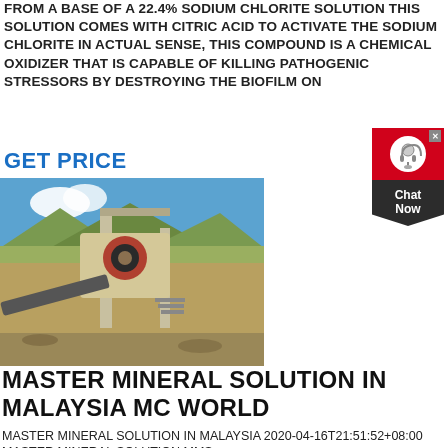FROM A BASE OF A 22.4% SODIUM CHLORITE SOLUTION THIS SOLUTION COMES WITH CITRIC ACID TO ACTIVATE THE SODIUM CHLORITE IN ACTUAL SENSE, THIS COMPOUND IS A CHEMICAL OXIDIZER THAT IS CAPABLE OF KILLING PATHOGENIC STRESSORS BY DESTROYING THE BIOFILM ON
GET PRICE
[Figure (photo): A large industrial mineral crushing/processing machine on an outdoor mining site with blue sky and mountains in background]
MASTER MINERAL SOLUTION IN MALAYSIA MC WORLD
MASTER MINERAL SOLUTION IN MALAYSIA 2020-04-16T21:51:52+08:00 MASTER MINERAL SOLUTION MMS